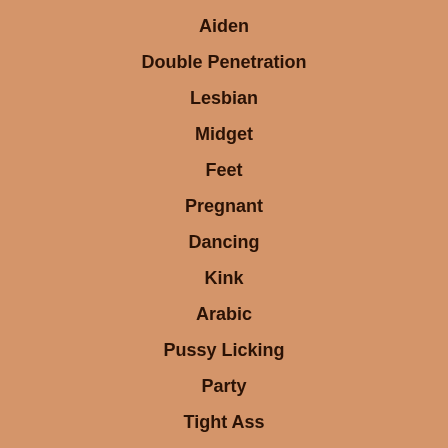Aiden
Double Penetration
Lesbian
Midget
Feet
Pregnant
Dancing
Kink
Arabic
Pussy Licking
Party
Tight Ass
Hot Brazilian
Mother Bound
Evans